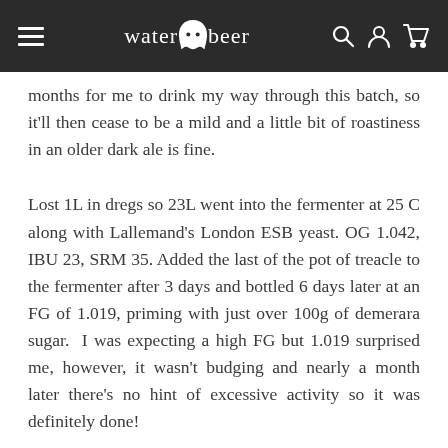waterintobeer
months for me to drink my way through this batch, so it'll then cease to be a mild and a little bit of roastiness in an older dark ale is fine.
Lost 1L in dregs so 23L went into the fermenter at 25 C along with Lallemand's London ESB yeast. OG 1.042, IBU 23, SRM 35. Added the last of the pot of treacle to the fermenter after 3 days and bottled 6 days later at an FG of 1.019, priming with just over 100g of demerara sugar.  I was expecting a high FG but 1.019 surprised me, however, it wasn't budging and nearly a month later there's no hint of excessive activity so it was definitely done!
The end result was a full-bodied 3% beer which was indeed sweet and malty with a hint of sugar.  The treacle seems to have been a good decision as it's